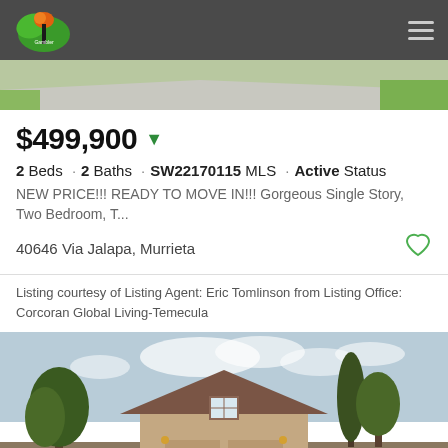Navigation header with logo and menu
[Figure (photo): Top strip showing driveway and grass — partial property photo]
$499,900
2 Beds · 2 Baths · SW22170115 MLS · Active Status
NEW PRICE!!! READY TO MOVE IN!!! Gorgeous Single Story, Two Bedroom, T...
40646 Via Jalapa, Murrieta
Listing courtesy of Listing Agent: Eric Tomlinson from Listing Office: Corcoran Global Living-Temecula
[Figure (photo): Exterior photo of a single-story tan/beige house with brown roof, garage doors, trees on both sides, against a partially cloudy sky]